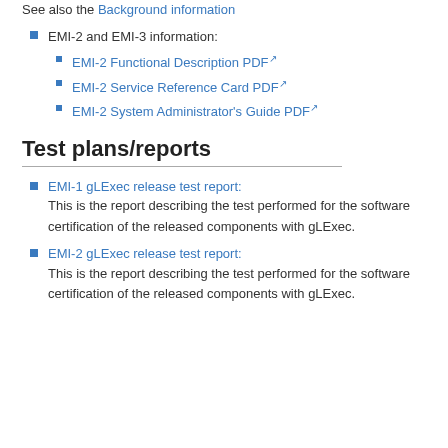Papers about gLExec
See also the Background information
EMI-2 and EMI-3 information:
EMI-2 Functional Description PDF
EMI-2 Service Reference Card PDF
EMI-2 System Administrator's Guide PDF
Test plans/reports
EMI-1 gLExec release test report: This is the report describing the test performed for the software certification of the released components with gLExec.
EMI-2 gLExec release test report: This is the report describing the test performed for the software certification of the released components with gLExec.